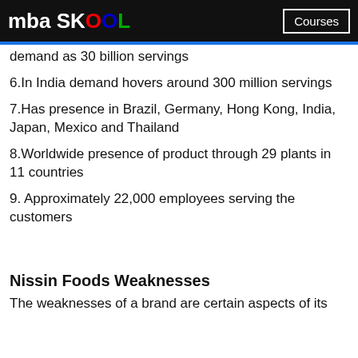mba SKOOL   Courses
demand as 30 billion servings
6.In India demand hovers around 300 million servings
7.Has presence in Brazil, Germany, Hong Kong, India, Japan, Mexico and Thailand
8.Worldwide presence of product through 29 plants in 11 countries
9. Approximately 22,000 employees serving the customers
Nissin Foods Weaknesses
The weaknesses of a brand are certain aspects of its